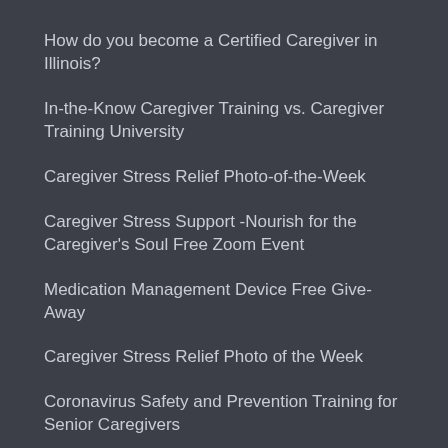How do you become a Certified Caregiver in Illinois?
In-the-Know Caregiver Training vs. Caregiver Training University
Caregiver Stress Relief Photo-of-the-Week
Caregiver Stress Support -Nourish for the Caregiver's Soul Free Zoom Event
Medication Management Device Free Give-Away
Caregiver Stress Relief Photo of the Week
Coronavirus Safety and Prevention Training for Senior Caregivers